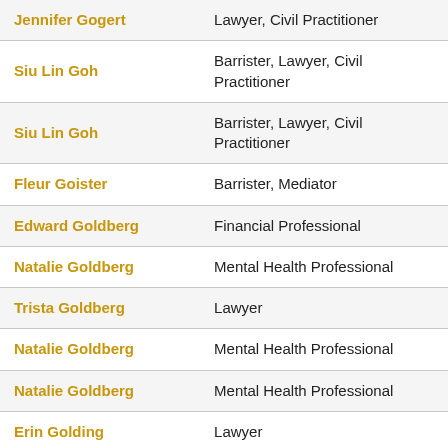| Name | Role |
| --- | --- |
| Jennifer Gogert | Lawyer, Civil Practitioner |
| Siu Lin Goh | Barrister, Lawyer, Civil Practitioner |
| Siu Lin Goh | Barrister, Lawyer, Civil Practitioner |
| Fleur Goister | Barrister, Mediator |
| Edward Goldberg | Financial Professional |
| Natalie Goldberg | Mental Health Professional |
| Trista Goldberg | Lawyer |
| Natalie Goldberg | Mental Health Professional |
| Natalie Goldberg | Mental Health Professional |
| Erin Golding | Lawyer |
| Steven Goldman | Lawyer, Mediator |